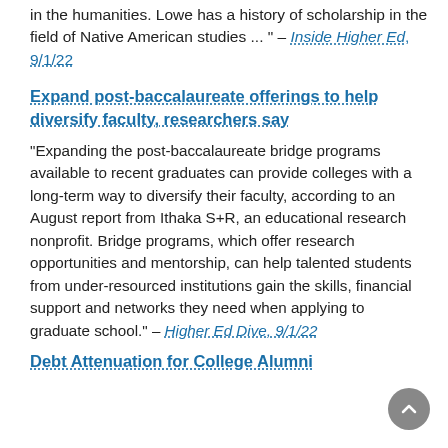in the humanities. Lowe has a history of scholarship in the field of Native American studies ... " – Inside Higher Ed, 9/1/22
Expand post-baccalaureate offerings to help diversify faculty, researchers say
"Expanding the post-baccalaureate bridge programs available to recent graduates can provide colleges with a long-term way to diversify their faculty, according to an August report from Ithaka S+R, an educational research nonprofit. Bridge programs, which offer research opportunities and mentorship, can help talented students from under-resourced institutions gain the skills, financial support and networks they need when applying to graduate school." – Higher Ed Dive, 9/1/22
Debt Attenuation for College Alumni